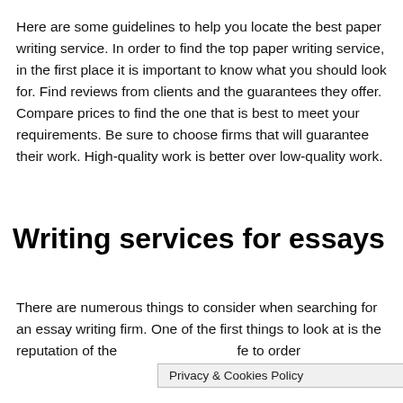Here are some guidelines to help you locate the best paper writing service. In order to find the top paper writing service, in the first place it is important to know what you should look for. Find reviews from clients and the guarantees they offer. Compare prices to find the one that is best to meet your requirements. Be sure to choose firms that will guarantee their work. High-quality work is better over low-quality work.
Writing services for essays
There are numerous things to consider when searching for an essay writing firm. One of the first things to look at is the reputation of the [Privacy & Cookies Policy] fe to order